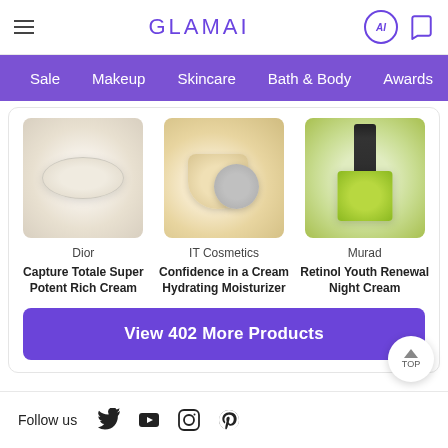GLAMAI
Sale  Makeup  Skincare  Bath & Body  Awards  Rankings
[Figure (photo): Product image: Dior cream jar, blurred/soft focus]
Dior
Capture Totale Super Potent Rich Cream
[Figure (photo): Product image: IT Cosmetics cream jar with lid, blurred/soft focus]
IT Cosmetics
Confidence in a Cream Hydrating Moisturizer
[Figure (photo): Product image: Murad green bottle with dropper, blurred/soft focus]
Murad
Retinol Youth Renewal Night Cream
View 402 More Products
Follow us